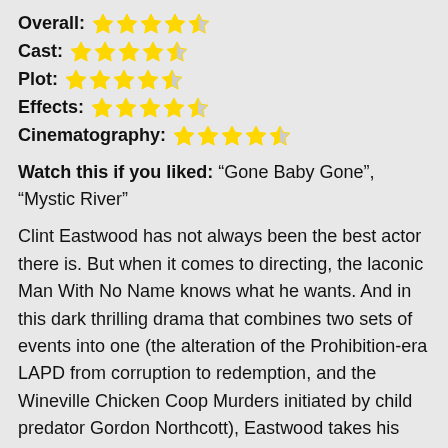Overall: 4.5/5 stars
Cast: 4.5/5 stars
Plot: 4.5/5 stars
Effects: 4.5/5 stars
Cinematography: 4.5/5 stars
Watch this if you liked: “Gone Baby Gone”, “Mystic River”
Clint Eastwood has not always been the best actor there is. But when it comes to directing, the laconic Man With No Name knows what he wants. And in this dark thrilling drama that combines two sets of events into one (the alteration of the Prohibition-era LAPD from corruption to redemption, and the Wineville Chicken Coop Murders initiated by child predator Gordon Northcott), Eastwood takes his direction to a new height.
To think that all this comes from an anxious mother who lost her son!
Fans who are already familiar with his other films like "Letters From Iwo Jima" and "Million Dollar Baby" will find it less terse and a little 'unEastwood'. Then again, "Changeling" is much more concise and spot on than all his other directorial works. Every